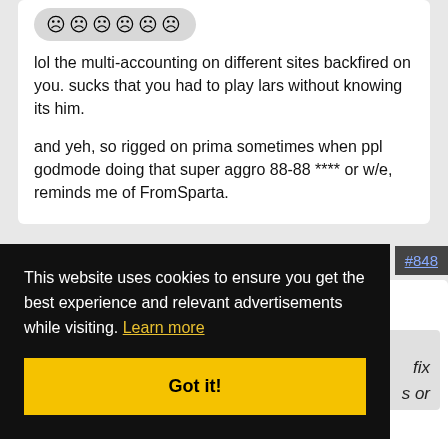[Figure (other): Row of six frowning/sad face emoji icons on a light gray rounded background]
lol the multi-accounting on different sites backfired on you. sucks that you had to play lars without knowing its him.
and yeh, so rigged on prima sometimes when ppl godmode doing that super aggro 88-88 **** or w/e, reminds me of FromSparta.
#848
This website uses cookies to ensure you get the best experience and relevant advertisements while visiting. Learn more
Got it!
fix
s or